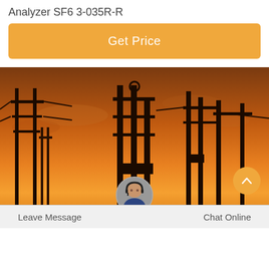Analyzer SF6 3-035R-R
Get Price
[Figure (photo): Electrical power substation with tall transformer towers and high-voltage lines silhouetted against a dramatic orange sunset sky]
Leave Message
Chat Online